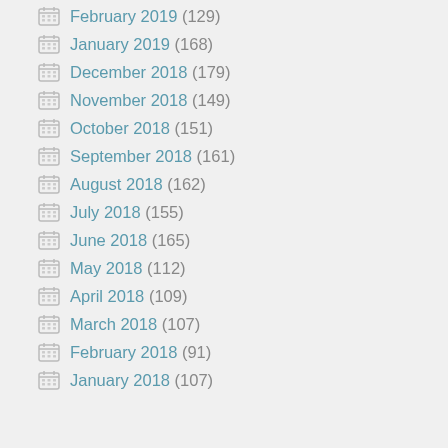February 2019 (129)
January 2019 (168)
December 2018 (179)
November 2018 (149)
October 2018 (151)
September 2018 (161)
August 2018 (162)
July 2018 (155)
June 2018 (165)
May 2018 (112)
April 2018 (109)
March 2018 (107)
February 2018 (91)
January 2018 (107)